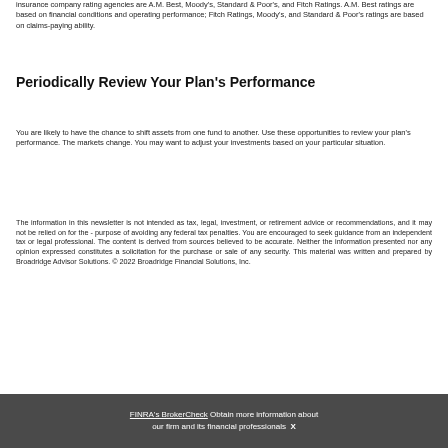insurance company rating agencies are A.M. Best, Moody's, Standard & Poor's, and Fitch Ratings. A.M. Best ratings are based on financial conditions and operating performance; Fitch Ratings, Moody's, and Standard & Poor's ratings are based on claims-paying ability.
Periodically Review Your Plan's Performance
You are likely to have the chance to shift assets from one fund to another. Use these opportunities to review your plan's performance. The markets change. You may want to adjust your investments based on your particular situation.
The information in this newsletter is not intended as tax, legal, investment, or retirement advice or recommendations, and it may not be relied on for the purpose of avoiding any federal tax penalties. You are encouraged to seek guidance from an independent tax or legal professional. The content is derived from sources believed to be accurate. Neither the information presented nor any opinion expressed constitutes a solicitation for the purchase or sale of any security. This material was written and prepared by Broadridge Advisor Solutions. © 2022 Broadridge Financial Solutions, Inc.
FINRA's BrokerCheck Obtain more information about our firm and its financial professionals X